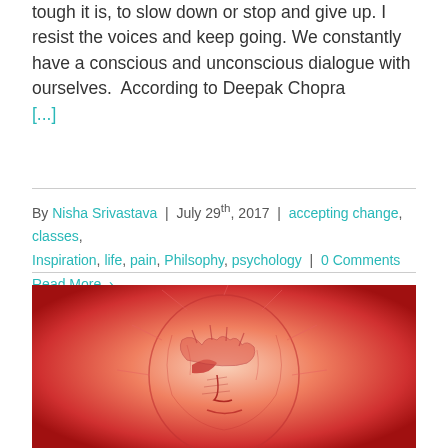tough it is, to slow down or stop and give up. I resist the voices and keep going. We constantly have a conscious and unconscious dialogue with ourselves.  According to Deepak Chopra [...]
By Nisha Srivastava | July 29th, 2017 | accepting change, classes, Inspiration, life, pain, Philsophy, psychology | 0 Comments
Read More
[Figure (illustration): Red/orange toned illustration of a person with head in hands, appearing distressed, drawn in a detailed etching or engraving style]